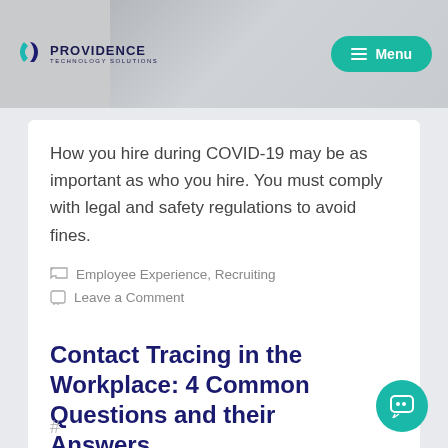Providence Technology Solutions — Menu
How you hire during COVID-19 may be as important as who you hire. You must comply with legal and safety regulations to avoid fines.
Employee Experience, Recruiting
Leave a Comment
Contact Tracing in the Workplace: 4 Common Questions and their Answers